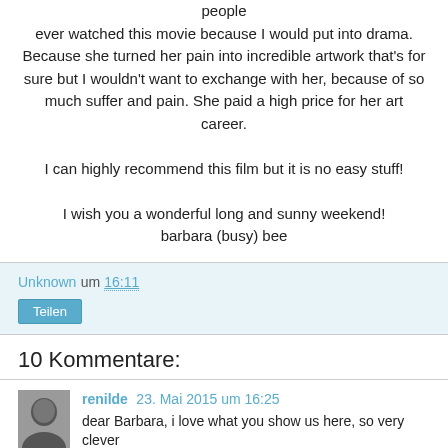people ever watched this movie because I would put into drama. Because she turned her pain into incredible artwork that's for sure but I wouldn't want to exchange with her, because of so much suffer and pain. She paid a high price for her art career.

I can highly recommend this film but it is no easy stuff!

I wish you a wonderful long and sunny weekend!
barbara (busy) bee
Unknown um 16:11
Teilen
10 Kommentare:
renilde 23. Mai 2015 um 16:25
dear Barbara, i love what you show us here, so very clever